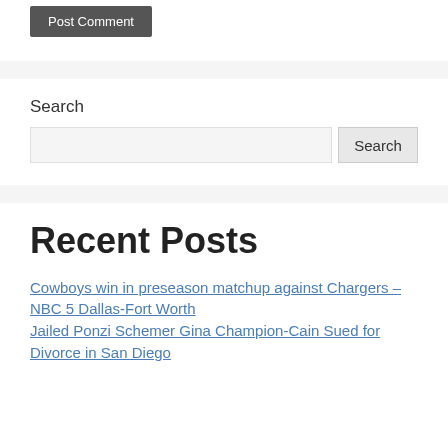Post Comment
Search
Recent Posts
Cowboys win in preseason matchup against Chargers – NBC 5 Dallas-Fort Worth
Jailed Ponzi Schemer Gina Champion-Cain Sued for Divorce in San Diego